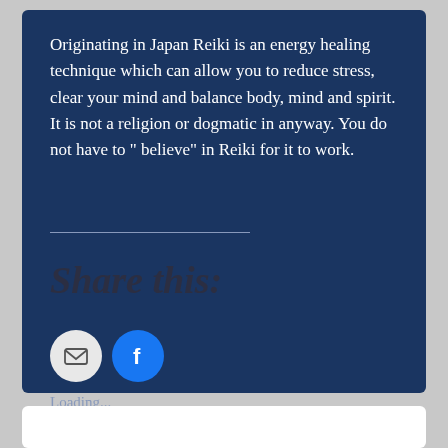Originating in Japan Reiki is an energy healing technique which can allow you to reduce stress, clear your mind and balance body, mind and spirit. It is not a religion or dogmatic in anyway. You do not have to " believe" in Reiki for it to work.
Share this:
Loading...